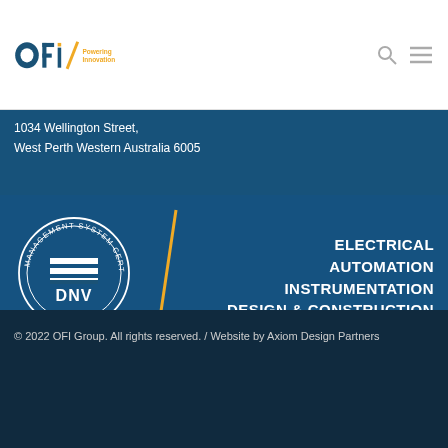[Figure (logo): OFI Group logo with orange slash and 'Powering Innovation' text]
1034 Wellington Street,
West Perth Western Australia 6005
[Figure (logo): DNV Management System Certification badge with ISO 9001, ISO 14001, ISO 45001, and diagonal orange line divider, alongside ELECTRICAL AUTOMATION INSTRUMENTATION DESIGN & CONSTRUCTION text]
© 2022 OFI Group. All rights reserved. / Website by Axiom Design Partners